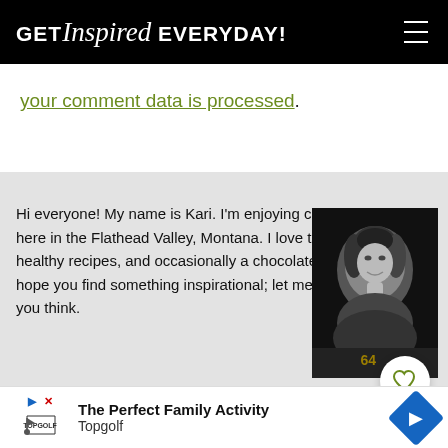GET Inspired EVERYDAY!
your comment data is processed.
Hi everyone! My name is Kari. I'm enjoying country living here in the Flathead Valley, Montana. I love to create mostly healthy recipes, and occasionally a chocolatey indulgence. I hope you find something inspirational; let me know what you think.
[Figure (photo): Black and white portrait photo of Kari]
Read
The Perfect Family Activity
Topgolf